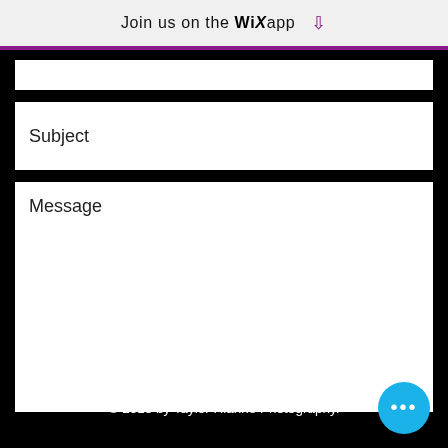Join us on the WiX app ⬇
[Figure (screenshot): Mobile app UI showing a contact form with Subject and Message input fields, a Send button, footer copyright, and a floating action button.]
Subject
Message
Send
© 2018 by Taylor Rianne Photography.